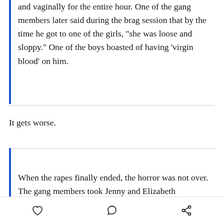and vaginally for the entire hour. One of the gang members later said during the brag session that by the time he got to one of the girls, "she was loose and sloppy." One of the boys boasted of having ‘virgin blood’ on him.
It gets worse.
When the rapes finally ended, the horror was not over. The gang members took Jenny and Elizabeth